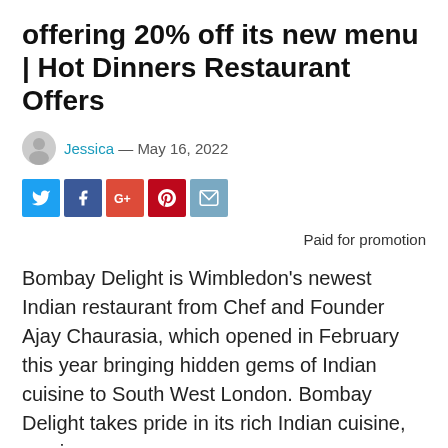offering 20% off its new menu | Hot Dinners Restaurant Offers
Jessica — May 16, 2022
[Figure (other): Social media share icons: Twitter, Facebook, Google+, Pinterest, Email]
Paid for promotion
Bombay Delight is Wimbledon's newest Indian restaurant from Chef and Founder Ajay Chaurasia, which opened in February this year bringing hidden gems of Indian cuisine to South West London. Bombay Delight takes pride in its rich Indian cuisine, serving up